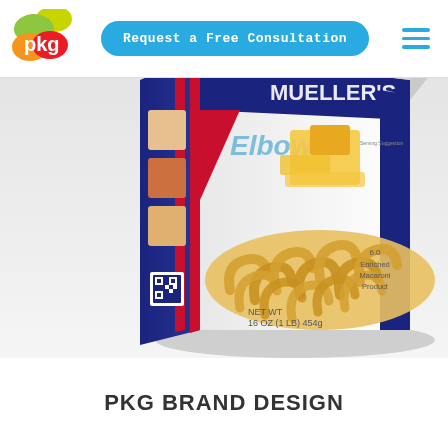[Figure (logo): PKG brand logo — colorful speech bubble shapes with 'pkg' text in white]
Request a Free Consultation
[Figure (photo): Mueller's Elbows macaroni pasta box — blue/white/red box packaging showing elbow pasta, cheese image, QR code on side, NET WT 16 OZ (1 LB) 454g]
PKG BRAND DESIGN